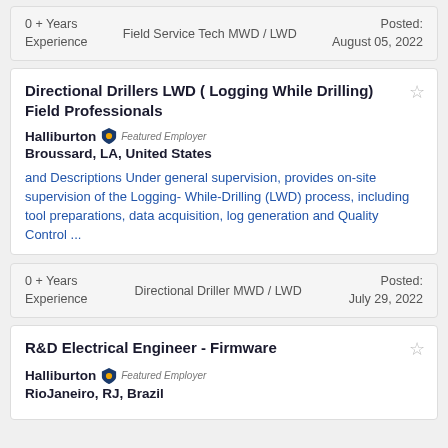0 + Years Experience | Field Service Tech MWD / LWD | Posted: August 05, 2022
Directional Drillers LWD ( Logging While Drilling) Field Professionals
Halliburton Featured Employer
Broussard, LA, United States
and Descriptions Under general supervision, provides on-site supervision of the Logging- While-Drilling (LWD) process, including tool preparations, data acquisition, log generation and Quality Control ...
0 + Years Experience | Directional Driller MWD / LWD | Posted: July 29, 2022
R&D Electrical Engineer - Firmware
Halliburton Featured Employer
RioJaneiro, RJ, Brazil